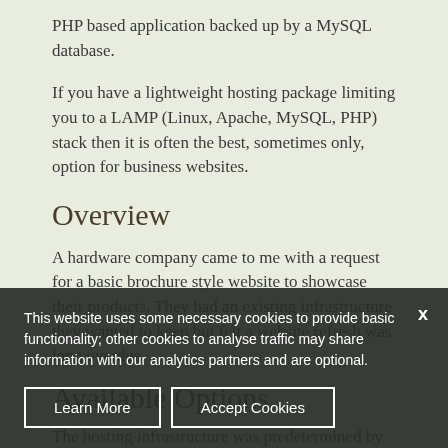PHP based application backed up by a MySQL database.
If you have a lightweight hosting package limiting you to a LAMP (Linux, Apache, MySQL, PHP) stack then it is often the best, sometimes only, option for business websites.
Overview
A hardware company came to me with a request for a basic brochure style website to showcase their products. They had an existing infrastructure they wanted to keep but felt a website refresh was long overdue.
Available Options
The hosting infrastructure was predetermined by the client's requirement for a website to run on a traditional LAMP stack.
This website uses some necessary cookies to provide basic functionality; other cookies to analyse traffic may share information with our analytics partners and are optional.